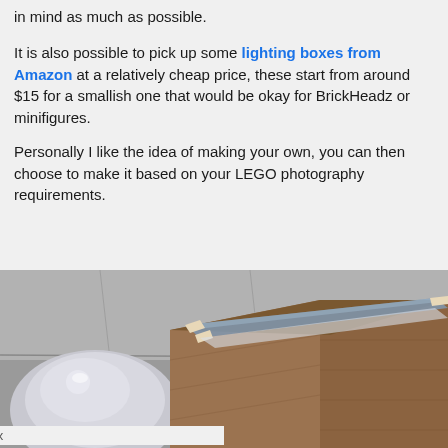in mind as much as possible.
It is also possible to pick up some lighting boxes from Amazon at a relatively cheap price, these start from around $15 for a smallish one that would be okay for BrickHeadz or minifigures.
Personally I like the idea of making your own, you can then choose to make it based on your LEGO photography requirements.
[Figure (photo): A homemade wooden light box with a translucent blue-grey top panel and wood frame, photographed outdoors on a stone surface. Another reflective object is partially visible on the left.]
x